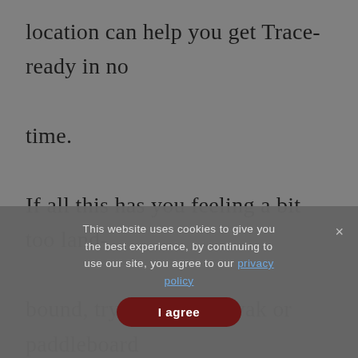location can help you get Trace-ready in no time.

If all this has you feeling a bit too land-bound, try renting a kayak or paddleboard from Brooks instead. The popular nearby Bogue Falaya waterway can give you a
This website uses cookies to give you the best experience, by continuing to use our site, you agree to our privacy policy